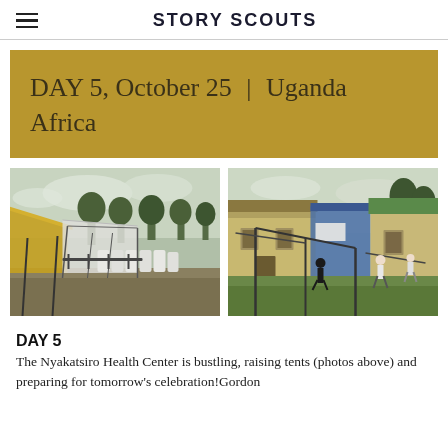STORY SCOUTS
DAY 5, October 25 | Uganda Africa
[Figure (photo): Outdoor scene at Nyakatsiro Health Center showing a large tent with yellow/gold canopy on the left, white plastic containers lined up in the middle ground, metal poles/frames, and trees in the background under a cloudy sky.]
[Figure (photo): Outdoor scene at Nyakatsiro Health Center showing a yellow building, a blue tarp structure, people working to set up tent frames/poles on grass, and trees in the background.]
DAY 5
The Nyakatsiro Health Center is bustling, raising tents (photos above) and preparing for tomorrow's celebration!Gordon